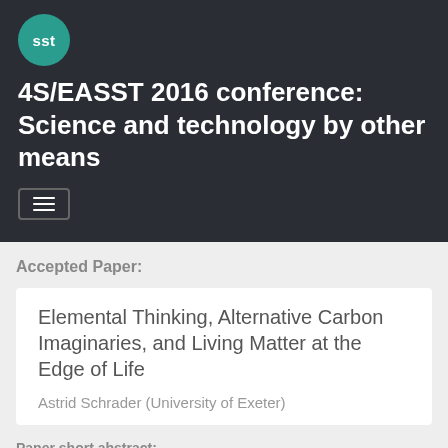[Figure (logo): SST circular green logo]
4S/EASST 2016 conference: Science and technology by other means
Accepted Paper:
Elemental Thinking, Alternative Carbon Imaginaries, and Living Matter at the Edge of Life
Astrid Schrader (University of Exeter)
Paper short abstract:
Reading ancient elemental theory together with scientific accounts of